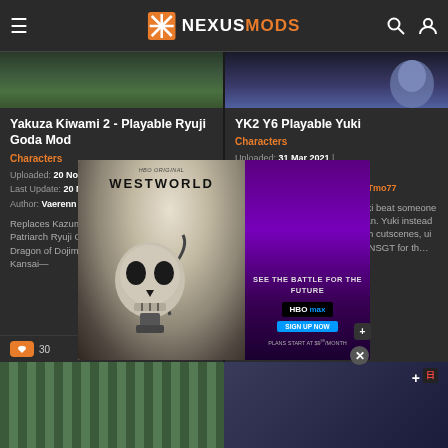NEXUSMODS
Yakuza Kiwami 2 - Playable Ryuji Goda Mod
Characters
Uploaded: 20 Nov 2020 | Last Update: 20 Nov 2020 | Author: Vaerenn | Uploader: Vaerenn
Replaces Kazuma Kiryu with Go-Ryu Clan Patriarch Ryuji Goda. Instead of playing the Dragon of Dojima, you fight as the Dragon of Kansai—
YK2 Y6 Playable Yuki
Characters
Uploaded: 31 Mar 2021 | Last Update: 22 May 2021 | Author: RyTmo77 | Uploader: RyTmo77
If you've ever wanted to see Yuki beat someone half to death i guess now you can. Yuki instead of Kiryu fully playable (working in cutscenes, ui changes)Big thanks to DimitriusNSGT for th…
[Figure (screenshot): Westworld HBO advertisement with skull imagery on left and HBO Max promotion on right purple background]
[Figure (screenshot): Bottom partial card showing green striped game screenshot on left]
[Figure (screenshot): Bottom partial card showing dark scene with red signs on right]